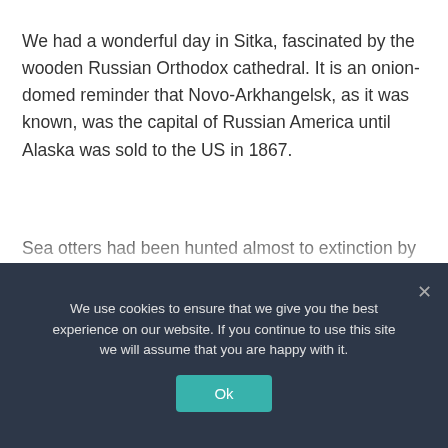We had a wonderful day in Sitka, fascinated by the wooden Russian Orthodox cathedral. It is an onion-domed reminder that Novo-Arkhangelsk, as it was known, was the capital of Russian America until Alaska was sold to the US in 1867.
Sea otters had been hunted almost to extinction by fur trappers by that time, but now, thanks to hunting restrictions, their population is healthy. On a small boat we saw a raft of sweet-faced mothers and pups [continues below fold]
We use cookies to ensure that we give you the best experience on our website. If you continue to use this site we will assume that you are happy with it.